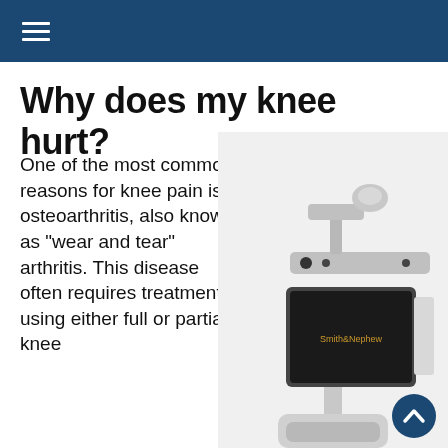≡
Why does my knee hurt?
One of the most common reasons for knee pain is osteoarthritis, also known as "wear and tear" arthritis. This disease often requires treatment using either full or partial knee
[Figure (photo): Medical surgical robot or navigation system on a wheeled stand, featuring a monitor screen displaying 'Smith&Nephew' branding, a camera/sensor bar on top, and a platform base. The device is photographed against a white background.]